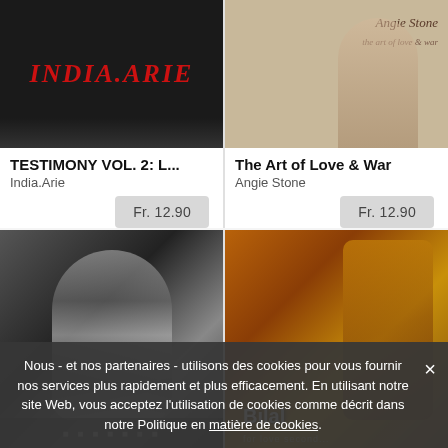[Figure (photo): Album cover for TESTIMONY VOL. 2 by India.Arie — dark background with red stylized text]
TESTIMONY VOL. 2: L...
India.Arie
Fr. 12.90
[Figure (photo): Album cover for The Art of Love & War by Angie Stone — light beige/tan background with script logo]
The Art of Love & War
Angie Stone
Fr. 12.90
[Figure (photo): Black and white album photo — artist in white shirt, dramatic lighting]
[Figure (photo): Warm toned album cover showing Bilal with dreadlocks, golden/amber tones, 'Bilal' text on image]
Nous - et nos partenaires - utilisons des cookies pour vous fournir nos services plus rapidement et plus efficacement. En utilisant notre site Web, vous acceptez l'utilisation de cookies comme décrit dans notre Politique en matière de cookies.